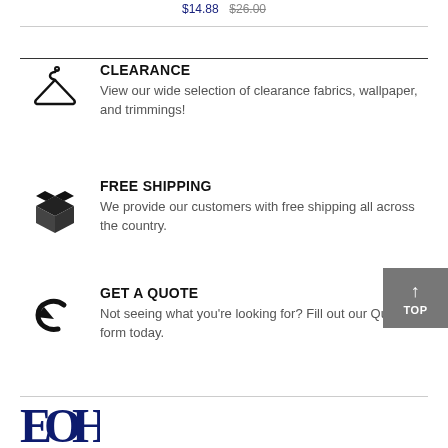$14.88  $26.00
CLEARANCE
View our wide selection of clearance fabrics, wallpaper, and trimmings!
FREE SHIPPING
We provide our customers with free shipping all across the country.
GET A QUOTE
Not seeing what you're looking for? Fill out our Quote form today.
[Figure (logo): EOH company logo in dark navy blue]
TOP